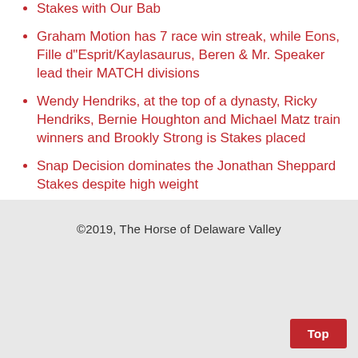Stakes with Our Bab
Graham Motion has 7 race win streak, while Eons, Fille d"Esprit/Kaylasaurus, Beren & Mr. Speaker lead their MATCH divisions
Wendy Hendriks, at the top of a dynasty, Ricky Hendriks, Bernie Houghton and Michael Matz train winners and Brookly Strong is Stakes placed
Snap Decision dominates the Jonathan Sheppard Stakes despite high weight
Jamie Bargery rides winners for trainers Ricky Hendriks and Neil Morris
©2019, The Horse of Delaware Valley